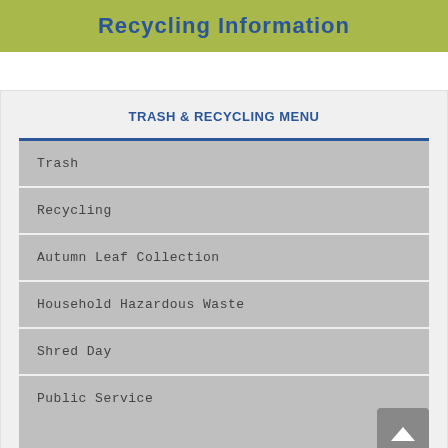Recycling Information
TRASH & RECYCLING MENU
Trash
Recycling
Autumn Leaf Collection
Household Hazardous Waste
Shred Day
Public Service